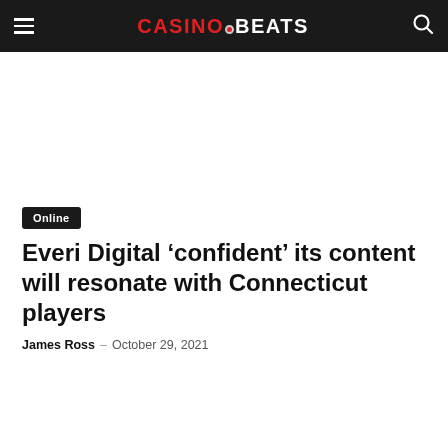CASINOBEATS
Online
Everi Digital ‘confident’ its content will resonate with Connecticut players
James Ross – October 29, 2021